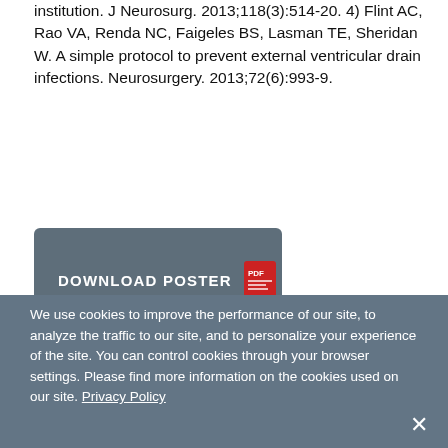institution. J Neurosurg. 2013;118(3):514-20. 4) Flint AC, Rao VA, Renda NC, Faigeles BS, Lasman TE, Sheridan W. A simple protocol to prevent external ventricular drain infections. Neurosurgery. 2013;72(6):993-9.
[Figure (other): Download Poster button with PDF icon, dark grey/slate colored rounded rectangle button]
We use cookies to improve the performance of our site, to analyze the traffic to our site, and to personalize your experience of the site. You can control cookies through your browser settings. Please find more information on the cookies used on our site. Privacy Policy